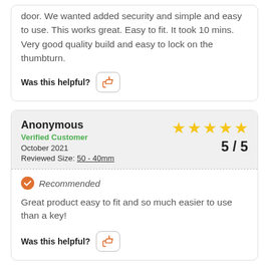door. We wanted added security and simple and easy to use. This works great. Easy to fit. It took 10 mins. Very good quality build and easy to lock on the thumbturn.
Was this helpful?
Anonymous
Verified Customer
October 2021
Reviewed Size: 50 - 40mm
5 / 5
Recommended
Great product easy to fit and so much easier to use than a key!
Was this helpful?
Anonymous
Verified Customer
5 / 5